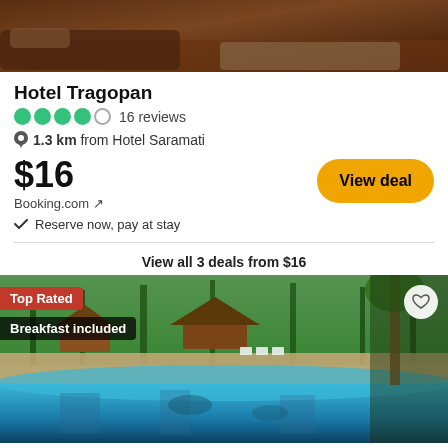[Figure (photo): Top portion of hotel interior room photo, warm brown tones]
Hotel Tragopan
●●●●○ 16 reviews
1.3 km from Hotel Saramati
$16
Booking.com ↗
✓ Reserve now, pay at stay
View deal
View all 3 deals from $16
[Figure (photo): Hotel pool area with thatched huts and palm trees, top rated badge, breakfast included badge]
FindHotel ↗
$44
View deal